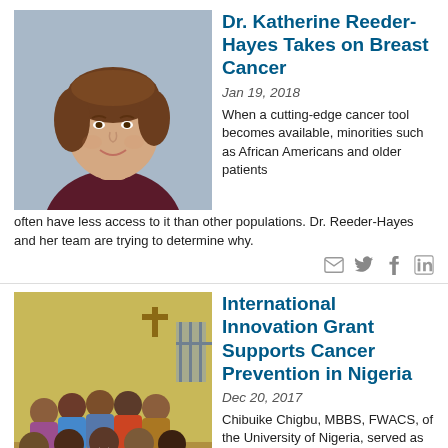[Figure (photo): Headshot of Dr. Katherine Reeder-Hayes, a woman with short brown hair wearing a dark maroon top, smiling, against a blurred background.]
Dr. Katherine Reeder-Hayes Takes on Breast Cancer
Jan 19, 2018
When a cutting-edge cancer tool becomes available, minorities such as African Americans and older patients often have less access to it than other populations. Dr. Reeder-Hayes and her team are trying to determine why.
[Figure (photo): Group photo of people seated in a room with yellow walls and a cross on the wall, in Nigeria.]
International Innovation Grant Supports Cancer Prevention in Nigeria
Dec 20, 2017
Chibuike Chigbu, MBBS, FWACS, of the University of Nigeria, served as principal investigator for one of the first projects supported by an IIG, "Impact of community health educators on